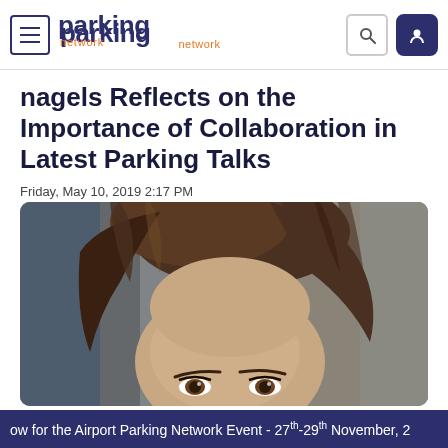parking network
nagels Reflects on the Importance of Collaboration in Latest Parking Talks
Friday, May 10, 2019 2:17 PM
[Figure (photo): Close-up portrait photo of a young woman with long brown hair, looking slightly upward, blurred background]
ow for the Airport Parking Network Event - 27th-29th November, 2